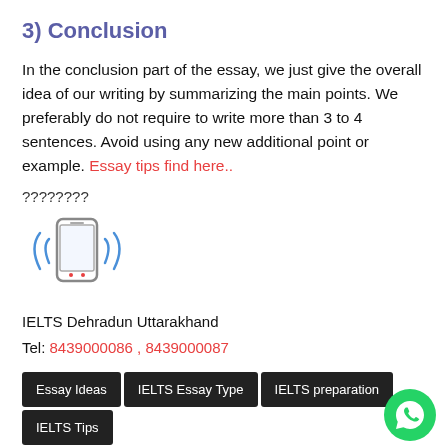3) Conclusion
In the conclusion part of the essay, we just give the overall idea of our writing by summarizing the main points. We preferably do not require to write more than 3 to 4 sentences. Avoid using any new additional point or example. Essay tips find here..
????????
[Figure (illustration): Mobile phone icon with vibration waves on both sides]
IELTS Dehradun Uttarakhand
Tel: 8439000086 , 8439000087
Essay Ideas
IELTS Essay Type
IELTS preparation
IELTS Tips